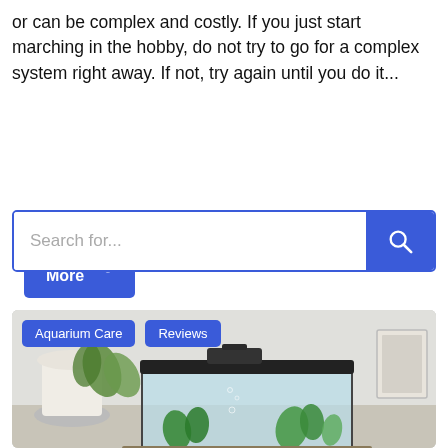or can be complex and costly. If you just start marching in the hobby, do not try to go for a complex system right away. If not, try again until you do it...
Read More →
[Figure (screenshot): Search bar with blue border and blue search button on white background]
[Figure (photo): Photo of an aquarium tank on a table in a home setting, with green plants inside, a black lid/filter on top. Tags 'Aquarium Care' and 'Reviews' overlay the top-left.]